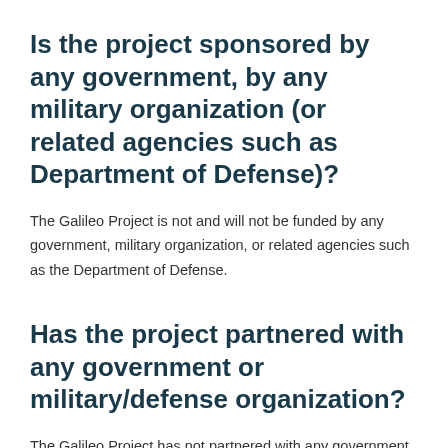Is the project sponsored by any government, by any military organization (or related agencies such as Department of Defense)?
The Galileo Project is not and will not be funded by any government, military organization, or related agencies such as the Department of Defense.
Has the project partnered with any government or military/defense organization?
The Galileo Project has not partnered with any government or military/defense organization. The project is carried out under the